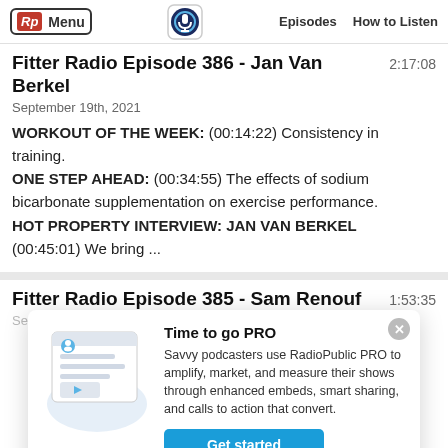Rp Menu | Episodes | How to Listen
Fitter Radio Episode 386 - Jan Van Berkel
2:17:08
September 19th, 2021
WORKOUT OF THE WEEK: (00:14:22) Consistency in training. ONE STEP AHEAD: (00:34:55) The effects of sodium bicarbonate supplementation on exercise performance. HOT PROPERTY INTERVIEW: JAN VAN BERKEL (00:45:01) We bring ...
Fitter Radio Episode 385 - Sam Renouf
1:53:35
[Figure (screenshot): RadioPublic PRO promotional modal with illustration of podcast embed, title 'Time to go PRO', description text, and 'Get started' button]
Time to go PRO
Savvy podcasters use RadioPublic PRO to amplify, market, and measure their shows through enhanced embeds, smart sharing, and calls to action that convert.
Get started